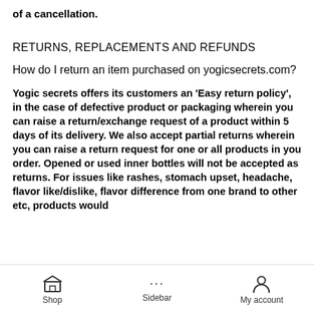of a cancellation.
RETURNS, REPLACEMENTS AND REFUNDS
How do I return an item purchased on yogicsecrets.com?
Yogic secrets offers its customers an 'Easy return policy', in the case of defective product or packaging wherein you can raise a return/exchange request of a product within 5 days of its delivery. We also accept partial returns wherein you can raise a return request for one or all products in you order. Opened or used inner bottles will not be accepted as returns. For issues like rashes, stomach upset, headache, flavor like/dislike, flavor difference from one brand to other etc, products would
Shop  Sidebar  My account